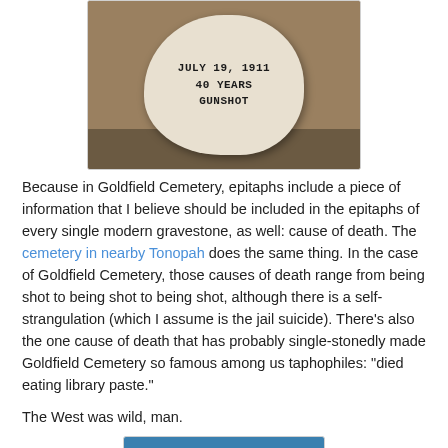[Figure (photo): A rounded white/cream gravestone resting on rocky ground, with text painted or carved reading 'July 19, 1911 / 40 Years / Gunshot']
Because in Goldfield Cemetery, epitaphs include a piece of information that I believe should be included in the epitaphs of every single modern gravestone, as well: cause of death. The cemetery in nearby Tonopah does the same thing. In the case of Goldfield Cemetery, those causes of death range from being shot to being shot to being shot, although there is a self-strangulation (which I assume is the jail suicide). There’s also the one cause of death that has probably single-stonedly made Goldfield Cemetery so famous among us taphophiles: “died eating library paste.”
The West was wild, man.
[Figure (photo): Bottom portion of a photo with blue sky visible, partially cropped]